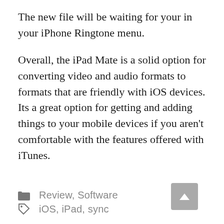The new file will be waiting for your in your iPhone Ringtone menu.
Overall, the iPad Mate is a solid option for converting video and audio formats to formats that are friendly with iOS devices. Its a great option for getting and adding things to your mobile devices if you aren't comfortable with the features offered with iTunes.
📁 Review, Software
🏷 iOS, iPad, sync